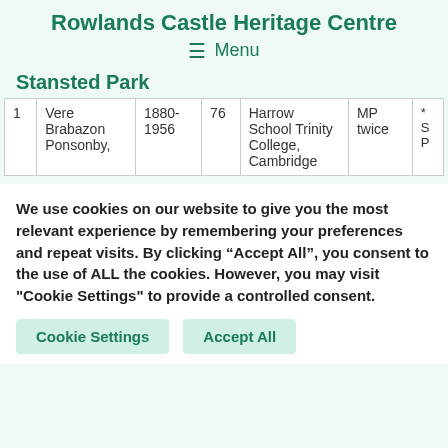Rowlands Castle Heritage Centre
Menu
Stansted Park
| 1 | Vere Brabazon Ponsonby, | 1880-1956 | 76 | Harrow School Trinity College, Cambridge | MP twice | *S P |
We use cookies on our website to give you the most relevant experience by remembering your preferences and repeat visits. By clicking “Accept All”, you consent to the use of ALL the cookies. However, you may visit "Cookie Settings" to provide a controlled consent.
Cookie Settings
Accept All